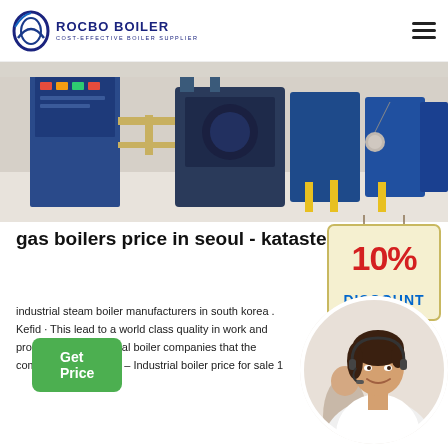ROCBO BOILER — COST-EFFECTIVE BOILER SUPPLIER
[Figure (photo): Industrial boiler room with multiple large blue boilers on a white tiled floor, pipes, gauges and control panels visible]
gas boilers price in seoul - kataster-...
[Figure (infographic): 10% DISCOUNT badge sign with red text on a cream/beige hanging sign]
industrial steam boiler manufacturers in south korea . Kefid · This lead to a world class quality in work and production international boiler companies that the company boiler korea – Industrial boiler price for sale 1
[Figure (photo): Circular portrait of a smiling female customer service representative wearing a headset, with another agent visible in the background]
Get Price